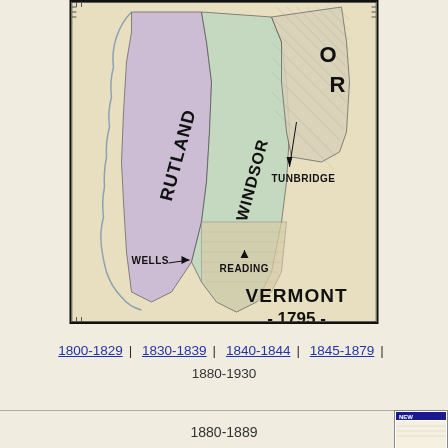[Figure (map): Historical map of Vermont 1795 showing counties including Rutland, Windsor, and towns Tunbridge, Wells, and Reading. The map shows county boundaries with colored regions.]
1800-1829 | 1830-1839 | 1840-1844 | 1845-1879 | 1880-1930
1880-1889